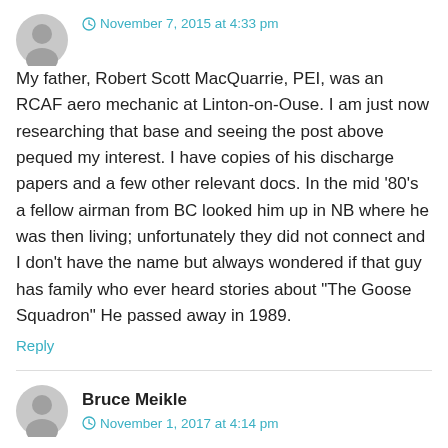November 7, 2015 at 4:33 pm
My father, Robert Scott MacQuarrie, PEI, was an RCAF aero mechanic at Linton-on-Ouse. I am just now researching that base and seeing the post above pequed my interest. I have copies of his discharge papers and a few other relevant docs. In the mid ‘80’s a fellow airman from BC looked him up in NB where he was then living; unfortunately they did not connect and I don’t have the name but always wondered if that guy has family who ever heard stories about “The Goose Squadron” He passed away in 1989.
Reply
Bruce Meikle
November 1, 2017 at 4:14 pm